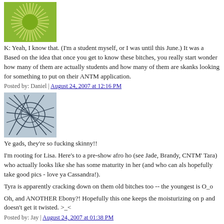[Figure (illustration): Green sun/starburst avatar icon on white background]
K: Yeah, I know that. (I'm a student myself, or I was until this June.) It was a Based on the idea that once you get to know these bitches, you really start wonder how many of them are actually students and how many of them are skanks looking for something to put on their ANTM application.
Posted by: Daniel | August 24, 2007 at 12:16 PM
[Figure (illustration): Abstract blue/grey lines avatar icon]
Ye gads, they're so fucking skinny!!
I'm rooting for Lisa. Here's to a pre-show afro ho (see Jade, Brandy, CNTM' Tara) who actually looks like she has some maturity in her (and who can als hopefully take good pics - love ya Cassandra!).
Tyra is apparently cracking down on them old bitches too -- the youngest is O_o
Oh, and ANOTHER Ebony?! Hopefully this one keeps the moisturizing on p and doesn't get it twisted. >_<
Posted by: Jay | August 24, 2007 at 01:38 PM